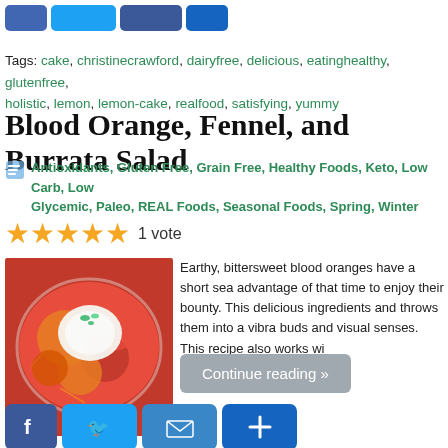Tags: cake, christinecrawford, dairyfree, delicious, eatinghealthy, glutenfree, holistic, lemon, lemon-cake, realfood, satisfying, yummy
Blood Orange, Fennel, and Burrata Salad
Antioxidants, Gluten Free, Grain Free, Healthy Foods, Keto, Low Carb, Low Glycemic, Paleo, REAL Foods, Seasonal Foods, Spring, Winter
1 vote
[Figure (photo): A plate of blood orange and burrata salad with orange slices and a burrata cheese on top, garnished with herbs]
Earthy, bittersweet blood oranges have a short sea advantage of that time to enjoy their bounty. This delicious ingredients and throws them into a vibra buds and visual senses. This recipe also works wi
Continue reading »